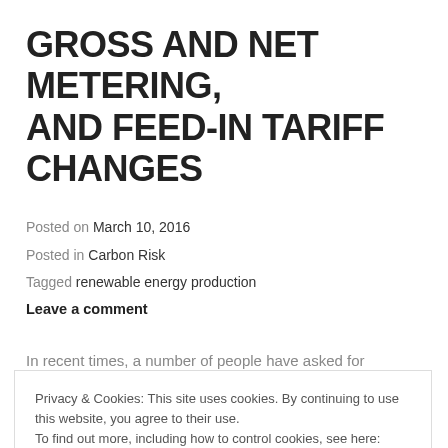GROSS AND NET METERING, AND FEED-IN TARIFF CHANGES
Posted on March 10, 2016
Posted in Carbon Risk
Tagged renewable energy production
Leave a comment
In recent times, a number of people have asked for
Privacy & Cookies: This site uses cookies. By continuing to use this website, you agree to their use.
To find out more, including how to control cookies, see here: Cookie Policy